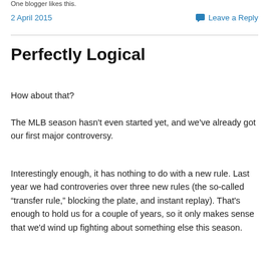One blogger likes this.
2 April 2015
Leave a Reply
Perfectly Logical
How about that?
The MLB season hasn’t even started yet, and we’ve already got our first major controversy.
Interestingly enough, it has nothing to do with a new rule. Last year we had controveries over three new rules (the so-called “transfer rule,” blocking the plate, and instant replay). That’s enough to hold us for a couple of years, so it only makes sense that we’d wind up fighting about something else this season.